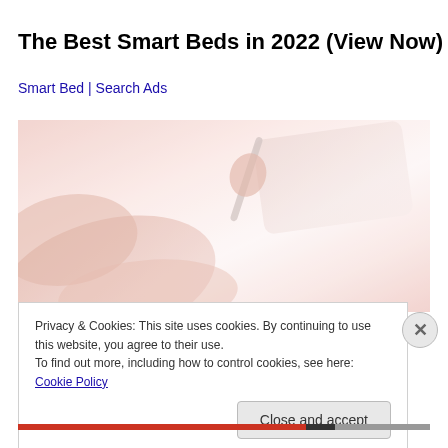The Best Smart Beds in 2022 (View Now)
Smart Bed | Search Ads
[Figure (photo): Faded/washed-out photo of hands using a tablet with a stylus, pinkish-red tones]
Privacy & Cookies: This site uses cookies. By continuing to use this website, you agree to their use.
To find out more, including how to control cookies, see here: Cookie Policy
Close and accept